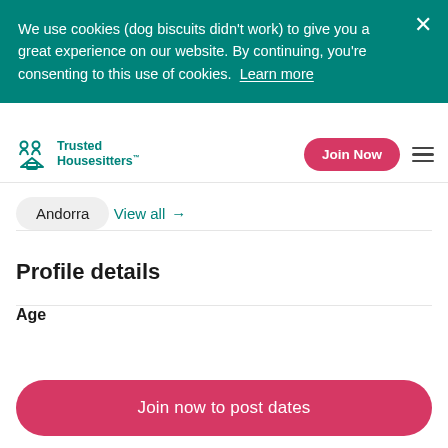We use cookies (dog biscuits didn't work) to give you a great experience on our website. By continuing, you're consenting to this use of cookies. Learn more
Trusted Housesitters™ | Join Now
Andorra
View all →
Profile details
Age
Join now to post dates